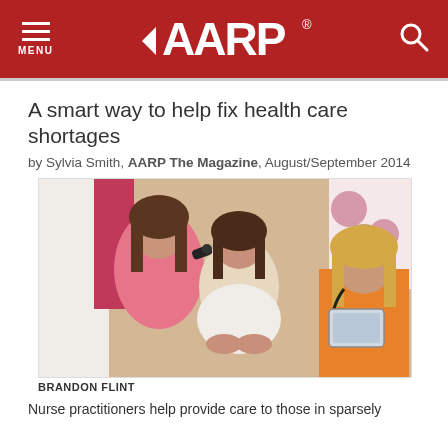AARP
A smart way to help fix health care shortages
by Sylvia Smith, AARP The Magazine, August/September 2014
[Figure (photo): A nurse practitioner in a pink jacket examines a seated female patient's ear with an otoscope, while another medical professional in orange scrubs with a stethoscope takes notes on a tablet. The scene is set in a medical examination room with a decorative pink and white patterned pillow visible in the background.]
BRANDON FLINT
Nurse practitioners help provide care to those in sparsely